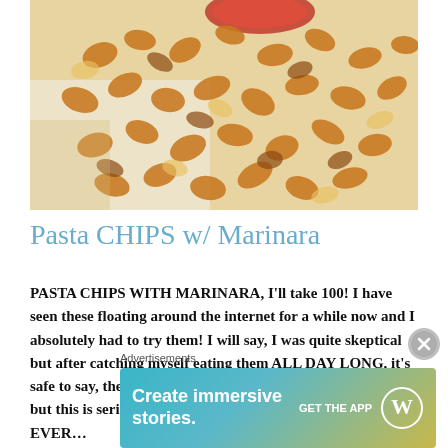[Figure (photo): Close-up photo of golden-brown fried pasta chips (shell-shaped) scattered on a white surface, with a small dish of red marinara sauce visible at the top.]
Pasta CHIPS w/ Marinara
PASTA CHIPS WITH MARINARA, I'll take 100! I have seen these floating around the internet for a while now and I absolutely had to try them! I will say, I was quite skeptical but after catching myself eating them ALL DAY LONG, it's safe to say, they're DELICIOUS. I know I always say this, but this is seriously one of the easiest recipes I have EVER…
Advertisements
[Figure (screenshot): WordPress advertisement banner with gradient background (blue to gold), text 'Create immersive stories.' on left, 'GET THE APP' button and WordPress logo on right.]